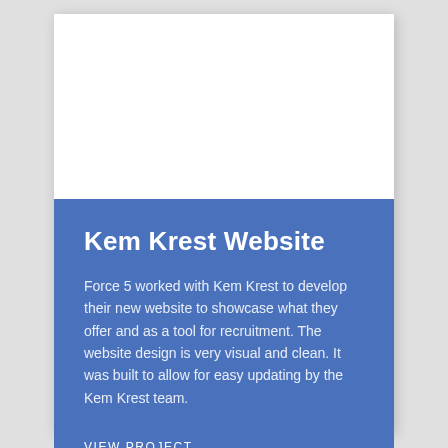[Figure (other): White blank area at top of card, representing a website screenshot placeholder]
Kem Krest Website
Force 5 worked with Kem Krest to develop their new website to showcase what they offer and as a tool for recruitment. The website design is very visual and clean. It was built to allow for easy updating by the Kem Krest team.
VIEW PROJECT